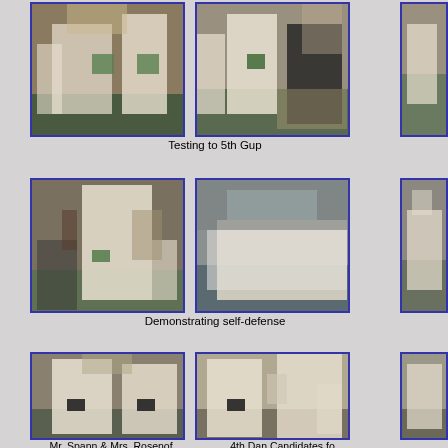[Figure (photo): Taekwondo students in white doboks with green belts standing in a dojang during testing]
[Figure (photo): Taekwondo practitioner performing a kick toward a person in black clothing during testing]
[Figure (photo): Partial view of photo on right edge]
Testing to 5th Gup
[Figure (photo): Taekwondo student performing a high kick during self-defense demonstration]
[Figure (photo): Taekwondo students performing ground self-defense technique with audience watching]
[Figure (photo): Partial view of photo on right edge showing sparring]
Demonstrating self-defense
[Figure (photo): Mr. Spann and Mrs. Rosenof in black belt doboks standing in dojang]
[Figure (photo): 4th Dan candidate performing a jumping kick during testing]
[Figure (photo): Partial view of photo on right edge]
Mr. Spann & Mrs. Rosenof, who called the tests.
4th Dan Candidates fo
[Figure (photo): Partial view of photo at bottom left]
[Figure (photo): Partial view of photo at bottom right]
[Figure (photo): Partial view of photo at bottom right edge]